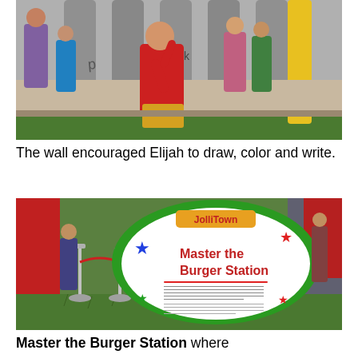[Figure (photo): Children drawing and writing on a large interactive wall display. A boy in a red shirt is prominently visible reaching up to draw on the wall which has grey column-like structures with a yellow element.]
The wall encouraged Elijah to draw, color and write.
[Figure (photo): Interior of a JolliTown exhibit with a 'Master the Burger Station' sign in green border with red text and colorful stars. People and children visible in background with red rope barriers and stanchions.]
Master the Burger Station where